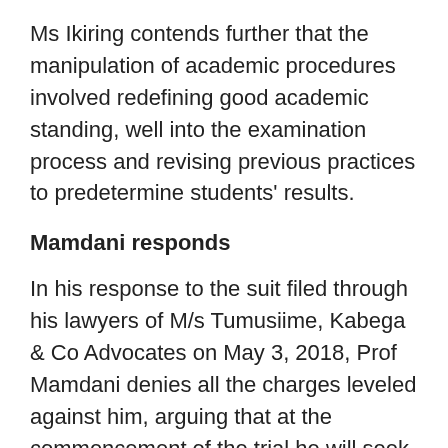Ms Ikiring contends further that the manipulation of academic procedures involved redefining good academic standing, well into the examination process and revising previous practices to predetermine students' results.
Mamdani responds
In his response to the suit filed through his lawyers of M/s Tumusiime, Kabega & Co Advocates on May 3, 2018, Prof Mamdani denies all the charges leveled against him, arguing that at the commencement of the trial he will seek to raise preliminary objections to the effect that Ms Ikiring's suit is bad in law and, therefore, should be struck out.
He explains that Ms Ikiring did not fully comply with the rules and regulations governing the scholarship awarded to her by MISR.
He says she failed to submit her doctoral research